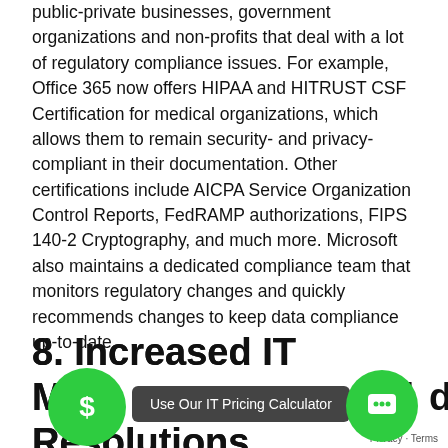public-private businesses, government organizations and non-profits that deal with a lot of regulatory compliance issues. For example, Office 365 now offers HIPAA and HITRUST CSF Certification for medical organizations, which allows them to remain security- and privacy-compliant in their documentation. Other certifications include AICPA Service Organization Control Reports, FedRAMP authorizations, FIPS 140-2 Cryptography, and much more. Microsoft also maintains a dedicated compliance team that monitors regulatory changes and quickly recommends changes to keep data compliance up-to-date.
8. Increased IT Managed Resolutions
[Figure (other): Green circle with dollar sign ($) icon, and a dark tooltip bubble reading 'Use Our IT Pricing Calculator']
[Figure (other): Green circle with chat/speech bubble icon on the right side]
Privacy · Terms